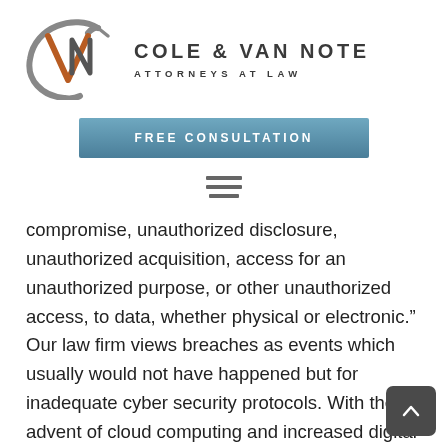[Figure (logo): Cole & Van Note Attorneys at Law logo with stylized CVN monogram in gray and orange/brown colors, firm name in dark gray uppercase letters]
[Figure (other): Blue/steel colored button reading FREE CONSULTATION in white uppercase letters]
[Figure (other): Hamburger menu icon with three horizontal lines]
compromise, unauthorized disclosure, unauthorized acquisition, access for an unauthorized purpose, or other unauthorized access, to data, whether physical or electronic.” Our law firm views breaches as events which usually would not have happened but for inadequate cyber security protocols. With the advent of cloud computing and increased digital